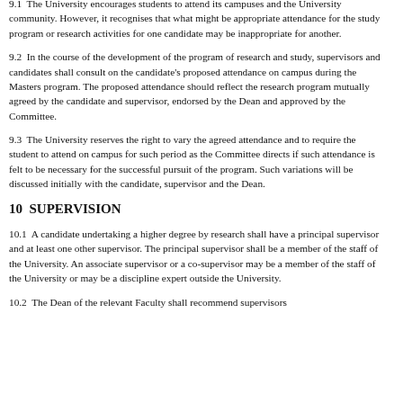9.1  The University encourages students to attend its campuses and the University community. However, it recognises that what might be appropriate attendance for the study program or research activities for one candidate may be inappropriate for another.
9.2  In the course of the development of the program of research and study, supervisors and candidates shall consult on the candidate's proposed attendance on campus during the Masters program. The proposed attendance should reflect the research program mutually agreed by the candidate and supervisor, endorsed by the Dean and approved by the Committee.
9.3  The University reserves the right to vary the agreed attendance and to require the student to attend on campus for such period as the Committee directs if such attendance is felt to be necessary for the successful pursuit of the program. Such variations will be discussed initially with the candidate, supervisor and the Dean.
10  SUPERVISION
10.1  A candidate undertaking a higher degree by research shall have a principal supervisor and at least one other supervisor. The principal supervisor shall be a member of the staff of the University. An associate supervisor or a co-supervisor may be a member of the staff of the University or may be a discipline expert outside the University.
10.2  The Dean of the relevant Faculty shall recommend supervisors